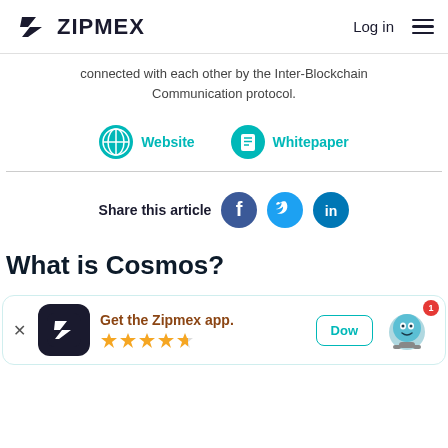ZIPMEX  Log in
connected with each other by the Inter-Blockchain Communication protocol.
[Figure (infographic): Two teal circular icon buttons: globe icon labeled 'Website' and document icon labeled 'Whitepaper']
Share this article
[Figure (infographic): Three social media icon circles: Facebook (dark blue), Twitter (cyan), LinkedIn (teal)]
What is Cosmos?
[Figure (infographic): App download banner: Zipmex app icon (black rounded square with lightning bolt), 'Get the Zipmex app.' text, 4.5 star rating, Download button, robot mascot with notification badge showing 1]